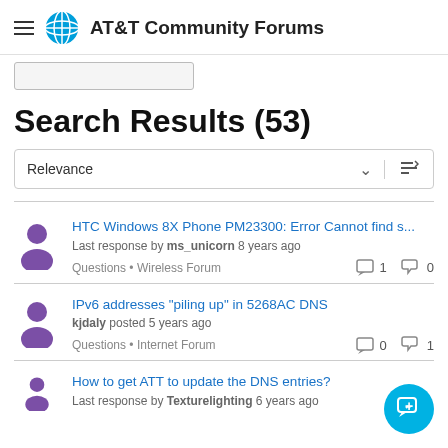AT&T Community Forums
Search Results (53)
HTC Windows 8X Phone PM23300: Error Cannot find s... | Last response by ms_unicorn 8 years ago | Questions • Wireless Forum | 1 comment | 0 likes
IPv6 addresses "piling up" in 5268AC DNS | kjdaly posted 5 years ago | Questions • Internet Forum | 0 comments | 1 like
How to get ATT to update the DNS entries? | Last response by Texturelighting 6 years ago